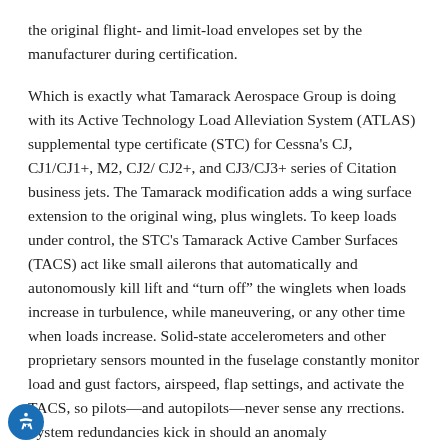the original flight- and limit-load envelopes set by the manufacturer during certification.
Which is exactly what Tamarack Aerospace Group is doing with its Active Technology Load Alleviation System (ATLAS) supplemental type certificate (STC) for Cessna's CJ, CJ1/CJ1+, M2, CJ2/ CJ2+, and CJ3/CJ3+ series of Citation business jets. The Tamarack modification adds a wing surface extension to the original wing, plus winglets. To keep loads under control, the STC's Tamarack Active Camber Surfaces (TACS) act like small ailerons that automatically and autonomously kill lift and “turn off” the winglets when loads increase in turbulence, while maneuvering, or any other time when loads increase. Solid-state accelerometers and other proprietary sensors mounted in the fuselage constantly monitor load and gust factors, airspeed, flap settings, and activate the TACS, so pilots—and autopilots—never sense any rrections. System redundancies kick in should an anomaly